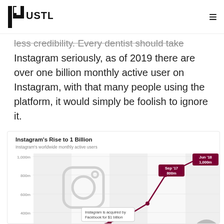INSTA HUSTLE
less credibility. Every dentist should take Instagram seriously, as of 2019 there are over one billion monthly active user on Instagram, with that many people using the platform, it would simply be foolish to ignore it.
[Figure (line-chart): Instagram's worldwide monthly active users. Line chart showing growth from early days to Jun '18 at 1,000m. Key points: Sep '17 800m, Jun '18 1,000m. Annotation: Instagram is acquired by Facebook for $1 billion. Y-axis: 200m, 400m, 600m, 800m, 1,000m.]